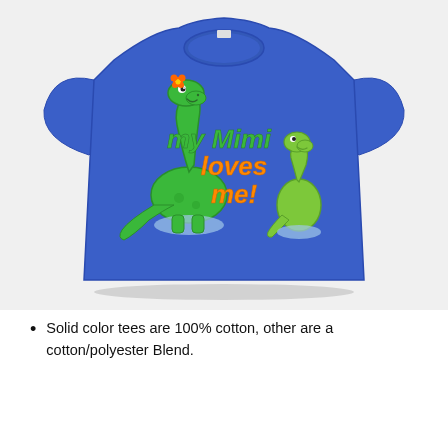[Figure (photo): A royal blue toddler t-shirt with a graphic showing two cartoon dinosaurs (brachiosaurus style) — a large green dinosaur with an orange flower and a smaller green dinosaur — with the text 'my Mimi loves me!' in green and orange fun lettering on the chest.]
Solid color tees are 100% cotton, other are a cotton/polyester Blend.